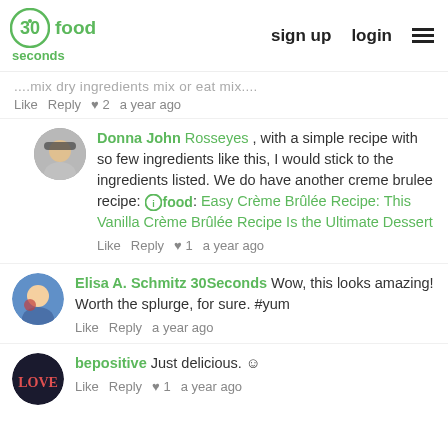30seconds food | sign up | login
...mix dry ingredients mix or eat mix...
Like  Reply  ♥ 2  a year ago
Donna John  Rosseyes , with a simple recipe with so few ingredients like this, I would stick to the ingredients listed. We do have another creme brulee recipe: 30seconds food: Easy Crème Brûlée Recipe: This Vanilla Crème Brûlée Recipe Is the Ultimate Dessert
Like  Reply  ♥ 1  a year ago
Elisa A. Schmitz 30Seconds  Wow, this looks amazing! Worth the splurge, for sure. #yum
Like  Reply  a year ago
bepositive  Just delicious. ☺
Like  Reply  ♥ 1  a year ago